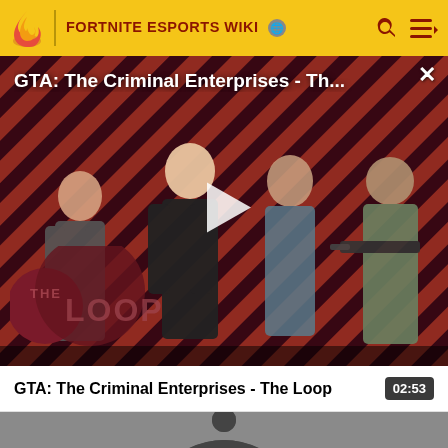FORTNITE ESPORTS WIKI
[Figure (screenshot): GTA: The Criminal Enterprises - The Loop video thumbnail showing four game characters against a red diagonal stripe background with THE LOOP logo, and a play button in the center]
GTA: The Criminal Enterprises - Th...
GTA: The Criminal Enterprises - The Loop
02:53
[Figure (screenshot): Partial thumbnail of next video showing a dark silhouette/avatar icon on gray background]